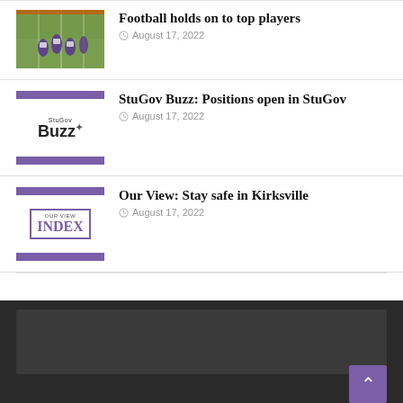[Figure (photo): Football players on field in purple uniforms]
Football holds on to top players
August 17, 2022
[Figure (logo): StuGov Buzz logo with purple bars on top and bottom]
StuGov Buzz: Positions open in StuGov
August 17, 2022
[Figure (logo): Our View Index logo in purple box with purple bars]
Our View: Stay safe in Kirksville
August 17, 2022
TAGS